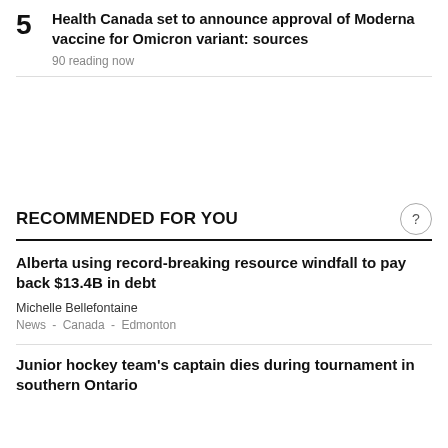5 Health Canada set to announce approval of Moderna vaccine for Omicron variant: sources
90 reading now
RECOMMENDED FOR YOU
Alberta using record-breaking resource windfall to pay back $13.4B in debt
Michelle Bellefontaine
News - Canada - Edmonton
Junior hockey team's captain dies during tournament in southern Ontario